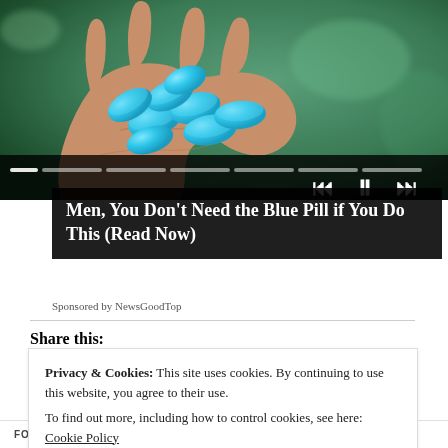[Figure (photo): A hand holding several blue oval pills/tablets against a blurred green background, with video player controls (skip back, pause, skip forward) and a progress bar overlay at the bottom of the image.]
Men, You Don't Need the Blue Pill if You Do This (Read Now)
Sponsored by NewsGoodTop
Share this:
Privacy & Cookies: This site uses cookies. By continuing to use this website, you agree to their use.
To find out more, including how to control cookies, see here: Cookie Policy
Close and accept
FOSTERING
GARDENING
HEALTH
HEARING AIDS